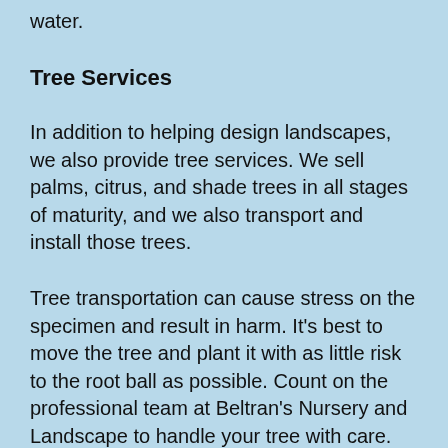water.
Tree Services
In addition to helping design landscapes, we also provide tree services. We sell palms, citrus, and shade trees in all stages of maturity, and we also transport and install those trees.
Tree transportation can cause stress on the specimen and result in harm. It’s best to move the tree and plant it with as little risk to the root ball as possible. Count on the professional team at Beltran’s Nursery and Landscape to handle your tree with care. We use only Kubota equipment to minimize risk, and we train our landscapers to understand best practices.